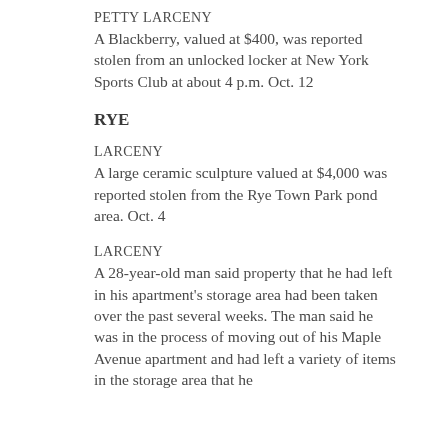PETTY LARCENY
A Blackberry, valued at $400, was reported stolen from an unlocked locker at New York Sports Club at about 4 p.m. Oct. 12
RYE
LARCENY
A large ceramic sculpture valued at $4,000 was reported stolen from the Rye Town Park pond area. Oct. 4
LARCENY
A 28-year-old man said property that he had left in his apartment's storage area had been taken over the past several weeks. The man said he was in the process of moving out of his Maple Avenue apartment and had left a variety of items in the storage area that he